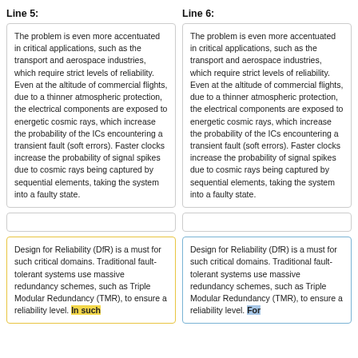Line 5:
Line 6:
The problem is even more accentuated in critical applications, such as the transport and aerospace industries, which require strict levels of reliability. Even at the altitude of commercial flights, due to a thinner atmospheric protection, the electrical components are exposed to energetic cosmic rays, which increase the probability of the ICs encountering a transient fault (soft errors). Faster clocks increase the probability of signal spikes due to cosmic rays being captured by sequential elements, taking the system into a faulty state.
The problem is even more accentuated in critical applications, such as the transport and aerospace industries, which require strict levels of reliability. Even at the altitude of commercial flights, due to a thinner atmospheric protection, the electrical components are exposed to energetic cosmic rays, which increase the probability of the ICs encountering a transient fault (soft errors). Faster clocks increase the probability of signal spikes due to cosmic rays being captured by sequential elements, taking the system into a faulty state.
Design for Reliability (DfR) is a must for such critical domains. Traditional fault-tolerant systems use massive redundancy schemes, such as Triple Modular Redundancy (TMR), to ensure a reliability level. In such
Design for Reliability (DfR) is a must for such critical domains. Traditional fault-tolerant systems use massive redundancy schemes, such as Triple Modular Redundancy (TMR), to ensure a reliability level. For